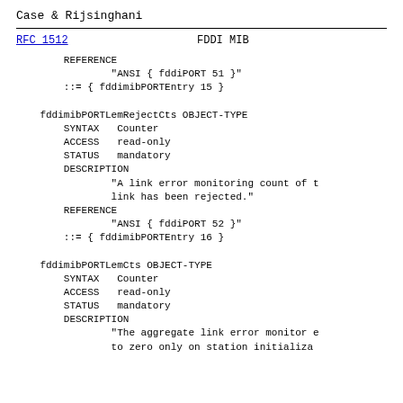Case & Rijsinghani
RFC 1512                        FDDI MIB
REFERENCE
                    "ANSI { fddiPORT 51 }"
            ::= { fddimibPORTEntry 15 }

        fddimibPORTLemRejectCts OBJECT-TYPE
            SYNTAX   Counter
            ACCESS   read-only
            STATUS   mandatory
            DESCRIPTION
                    "A link error monitoring count of t
                    link has been rejected."
            REFERENCE
                    "ANSI { fddiPORT 52 }"
            ::= { fddimibPORTEntry 16 }

        fddimibPORTLemCts OBJECT-TYPE
            SYNTAX   Counter
            ACCESS   read-only
            STATUS   mandatory
            DESCRIPTION
                    "The aggregate link error monitor e
                    to zero only on station initializa